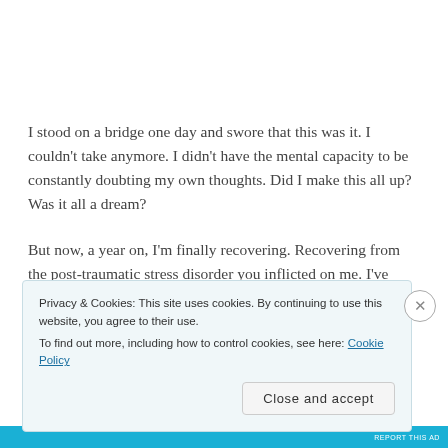I stood on a bridge one day and swore that this was it. I couldn't take anymore. I didn't have the mental capacity to be constantly doubting my own thoughts. Did I make this all up? Was it all a dream?
But now, a year on, I'm finally recovering. Recovering from the post-traumatic stress disorder you inflicted on me. I've been admitted onto a psychiatric ward brought on by the
Privacy & Cookies: This site uses cookies. By continuing to use this website, you agree to their use.
To find out more, including how to control cookies, see here: Cookie Policy
Close and accept